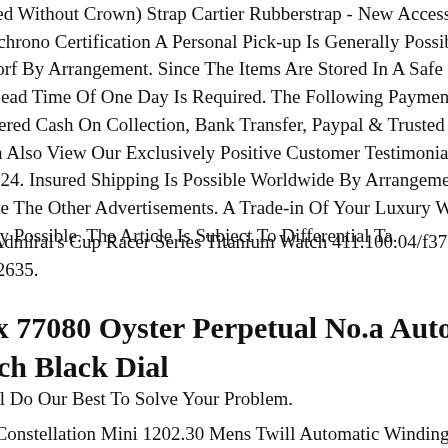sured Without Crown) Strap Cartier Rubberstrap - New Accessories urychrono Certification A Personal Pick-up Is Generally Possible In eldorf By Arrangement. Since The Items Are Stored In A Safe Deposit A Lead Time Of One Day Is Required. The Following Payment Meth Offered Cash On Collection, Bank Transfer, Paypal & Trusted Checko Can Also View Our Exclusively Positive Customer Testimonials On ono24. Insured Shipping Is Possible Worldwide By Arrangement. Pleas Note The Other Advertisements. A Trade-in Of Your Luxury Watch Is cally Possible. The Article Is Subject To Differential Ta.
m Admiral's Cup Racer Series Titanium Watch 411.100.04/f373 Ab20 # 62635.
lex 77080 Oyster Perpetual No.a Automatic atch Black Dial
Will Do Our Best To Solve Your Problem.
ga Constellation Mini 1202.30 Mens Twill Automatic Winding At less. We Will Do Our Best To Solve Your Problem. We Will Get Ba